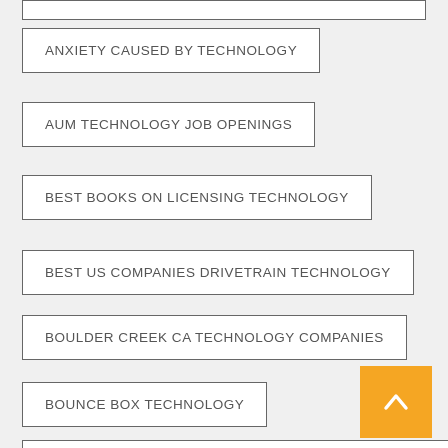ANXIETY CAUSED BY TECHNOLOGY
AUM TECHNOLOGY JOB OPENINGS
BEST BOOKS ON LICENSING TECHNOLOGY
BEST US COMPANIES DRIVETRAIN TECHNOLOGY
BOULDER CREEK CA TECHNOLOGY COMPANIES
BOUNCE BOX TECHNOLOGY
BRIDGERLAND APPLIED TECHNOLOGY COLLEGE CAFETERIA
CISCO TECHNOLOGY NEWS